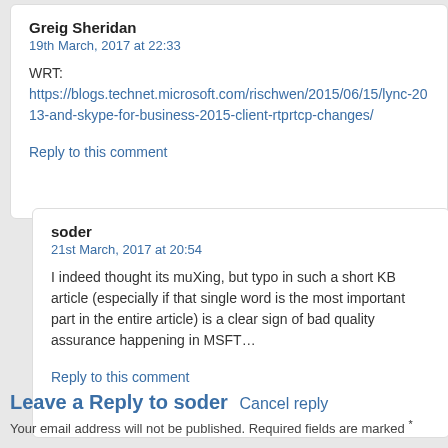Greig Sheridan
19th March, 2017 at 22:33
WRT:
https://blogs.technet.microsoft.com/rischwen/2015/06/15/lync-2013-and-skype-for-business-2015-client-rtprtcp-changes/
Reply to this comment
soder
21st March, 2017 at 20:54
I indeed thought its muXing, but typo in such a short KB article (especially if that single word is the most important part in the entire article) is a clear sign of bad quality assurance happening in MSFT…
Reply to this comment
Leave a Reply to soder Cancel reply
Your email address will not be published. Required fields are marked *